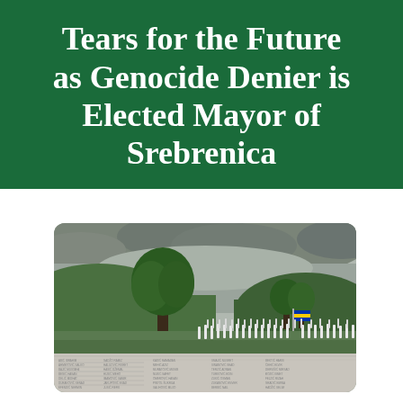Tears for the Future as Genocide Denier is Elected Mayor of Srebrenica
[Figure (photo): Photograph of the Srebrenica-Potočari Memorial and Cemetery showing rows of white grave markers on a hillside with trees and cloudy sky in the background, and a stone wall with engraved names in the foreground.]